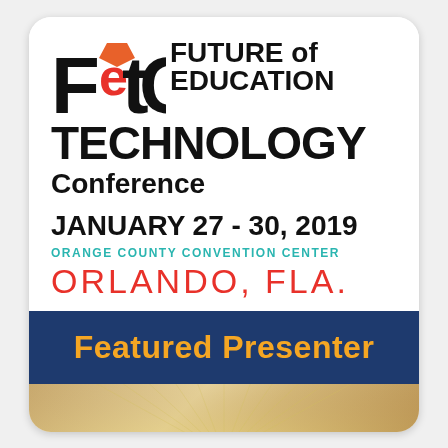[Figure (logo): FETC Future of Education Technology Conference logo with stylized 'FetC' lettermark in black, orange, and red]
FUTURE of EDUCATION TECHNOLOGY Conference
JANUARY 27 - 30, 2019
ORANGE COUNTY CONVENTION CENTER
ORLANDO, FLA.
Featured Presenter